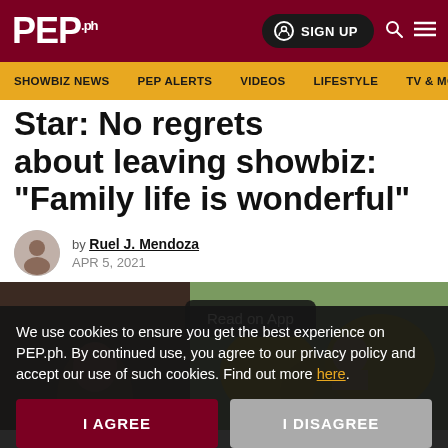PEP.ph | SIGN UP
SHOWBIZ NEWS | PEP ALERTS | VIDEOS | LIFESTYLE | TV & MOV
Star: No regrets about leaving showbiz: "Family life is wonderful"
by Ruel J. Mendoza
APR 5, 2021
[Figure (photo): Photo of two women with gold balloons, with a 'Read on App' overlay button]
We use cookies to ensure you get the best experience on PEP.ph. By continued use, you agree to our privacy policy and accept our use of such cookies. Find out more here.
I AGREE | I DISAGREE